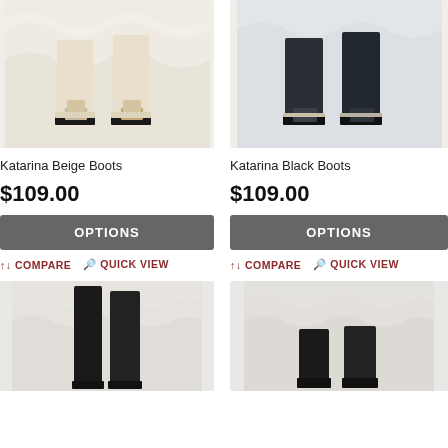[Figure (photo): Katarina Beige Boots product photo - cream/beige ankle boots with block heel]
[Figure (photo): Katarina Black Boots product photo - dark navy/black ankle boots with block heel]
Katarina Beige Boots
Katarina Black Boots
$109.00
$109.00
OPTIONS
OPTIONS
↑↓ COMPARE   Q  QUICK VIEW
↑↓ COMPARE   Q  QUICK VIEW
[Figure (photo): Tall black suede/fabric boots - knee high style on white wavy background]
[Figure (photo): Short black suede ankle boots on white wavy background]